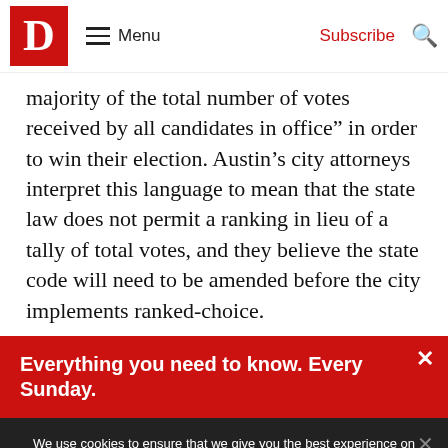D Menu Subscribe
majority of the total number of votes received by all candidates in office” in order to win their election. Austin’s city attorneys interpret this language to mean that the state law does not permit a ranking in lieu of a tally of total votes, and they believe the state code will need to be amended before the city implements ranked-choice.
Everything you need to know. Every Sunday.
We use cookies to ensure that we give you the best experience on our website. If you continue to use this site we will assume that you are happy with it.
GOT IT!